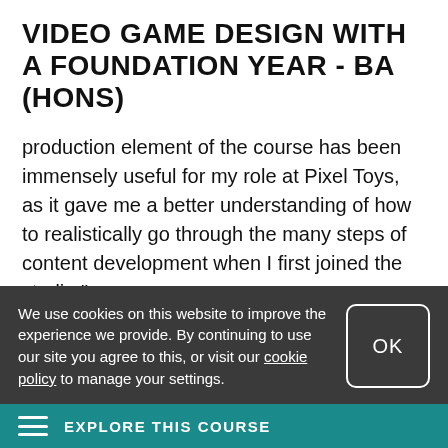VIDEO GAME DESIGN WITH A FOUNDATION YEAR - BA (HONS)
production element of the course has been immensely useful for my role at Pixel Toys, as it gave me a better understanding of how to realistically go through the many steps of content development when I first joined the studio."
Find out more about Arthur's role
We use cookies on this website to improve the experience we provide. By continuing to use our site you agree to this, or visit our cookie policy to manage your settings.
OK
EXPLORE THIS COURSE